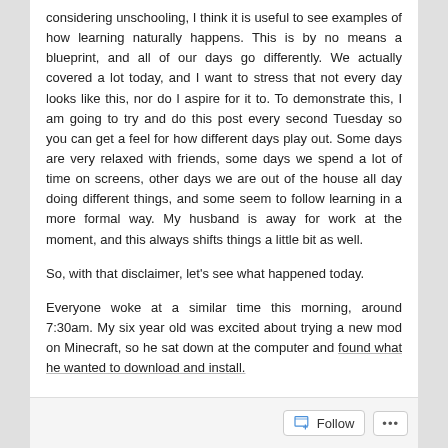considering unschooling, I think it is useful to see examples of how learning naturally happens. This is by no means a blueprint, and all of our days go differently. We actually covered a lot today, and I want to stress that not every day looks like this, nor do I aspire for it to. To demonstrate this, I am going to try and do this post every second Tuesday so you can get a feel for how different days play out. Some days are very relaxed with friends, some days we spend a lot of time on screens, other days we are out of the house all day doing different things, and some seem to follow learning in a more formal way. My husband is away for work at the moment, and this always shifts things a little bit as well.
So, with that disclaimer, let's see what happened today.
Everyone woke at a similar time this morning, around 7:30am. My six year old was excited about trying a new mod on Minecraft, so he sat down at the computer and found what he wanted to download and install.
Follow ···